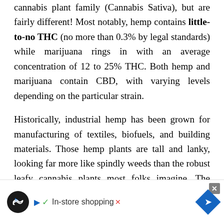cannabis plant family (Cannabis Sativa), but are fairly different! Most notably, hemp contains little-to-no THC (no more than 0.3% by legal standards) while marijuana rings in with an average concentration of 12 to 25% THC. Both hemp and marijuana contain CBD, with varying levels depending on the particular strain.
Historically, industrial hemp has been grown for manufacturing of textiles, biofuels, and building materials. Those hemp plants are tall and lanky, looking far more like spindly weeds than the robust leafy cannabis plants most folks imagine. The stalks are of primary interest, processed for fibers.
Modern hemp, such as that grown to produce medicinal CBD oil and other extracts, has been selectively bred with low-THC strains of marijuana. The modern hemp plants with [...]